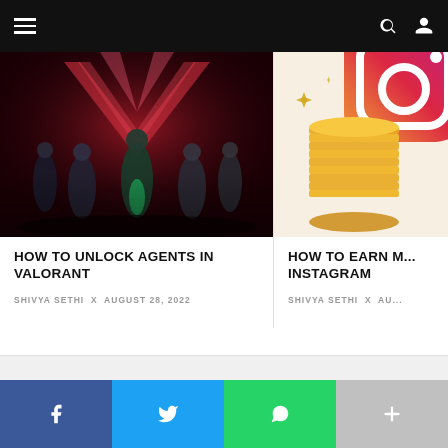Navigation bar with hamburger menu, search icon, and user icon
[Figure (screenshot): Valorant game artwork showing multiple armed characters in dark red/crimson sci-fi setting with large V logo]
HOW TO UNLOCK AGENTS IN VALORANT
SHIVYA SETHI x AUGUST 28, 2022
[Figure (illustration): Instagram-themed illustration with Instagram logo gradient and stacked gold coins on cream background]
HOW TO EARN M... INSTAGRAM
SHIVYA SETHI x AU...
Social share buttons: Facebook, Twitter, WhatsApp, More